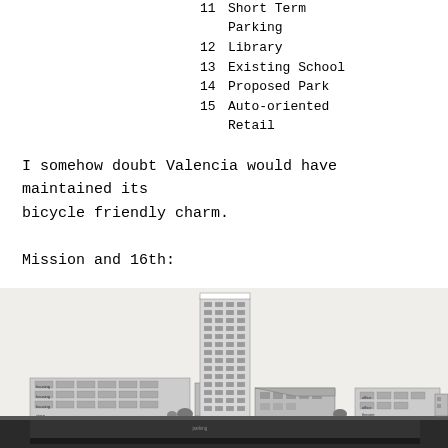11  Short Term Parking
12  Library
13  Existing School
14  Proposed Park
15  Auto-oriented Retail
I somehow doubt Valencia would have maintained its bicycle friendly charm.
Mission and 16th:
[Figure (illustration): Architectural elevation/section drawing of a mixed-use urban development at Mission and 16th, showing a tall multi-story tower in the center flanked by lower-rise commercial and residential buildings with labeled uses including housing, shops, office, parking at grade and below grade.]